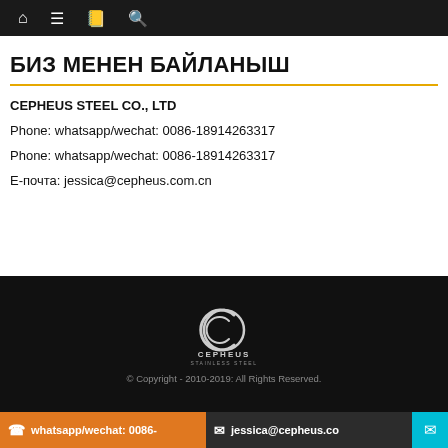Navigation bar with home, menu, book, search icons
БИЗ МЕНЕН БАЙЛАНЫШ
CEPHEUS STEEL CO., LTD
Phone: whatsapp/wechat: 0086-18914263317
Phone: whatsapp/wechat: 0086-18914263317
Е-почта: jessica@cepheus.com.cn
[Figure (logo): Cepheus Stainless Steel logo — stylized C emblem with CEPHEUS STAINLESS STEEL text below, white on black background]
© Copyright - 2010-2019: All Rights Reserved.
whatsapp/wechat: 0086-  |  jessica@cepheus.co